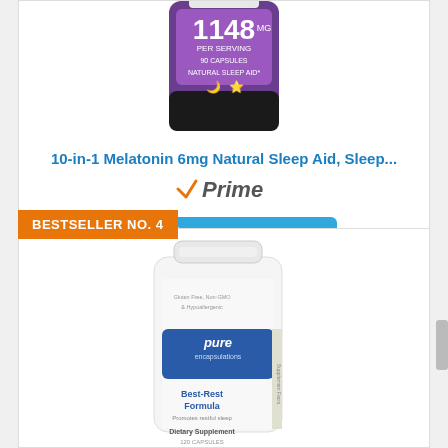[Figure (photo): Product bottle of 10-in-1 Melatonin 6mg Natural Sleep Aid, showing 1148mg per serving label on purple/black bottle]
10-in-1 Melatonin 6mg Natural Sleep Aid, Sleep...
[Figure (logo): Amazon Prime badge with checkmark and Prime text]
Check Price
BESTSELLER NO. 4
[Figure (photo): Pure Encapsulations Best-Rest Formula dietary supplement bottle, white bottle with blue label, 120 capsules]